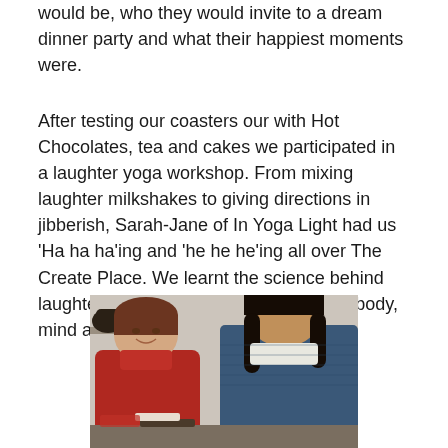would be, who they would invite to a dream dinner party and what their happiest moments were.
After testing our coasters our with Hot Chocolates, tea and cakes we participated in a laughter yoga workshop. From mixing laughter milkshakes to giving directions in jibberish, Sarah-Jane of In Yoga Light had us ‘Ha ha ha’ing and ‘he he he’ing all over The Create Place. We learnt the science behind laughter and how it can be good for the body, mind and soul.
[Figure (photo): Two people sitting at a table, a woman with short brown hair wearing a red scarf on the left smiling, and a man with long dark hair wearing a blue top on the right, both looking down at items on the table. A dark teapot is visible on a shelf in the background.]